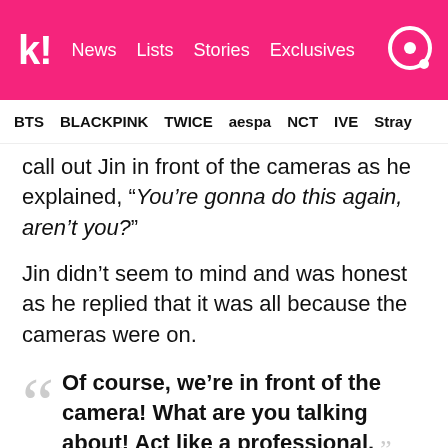k! News Lists Stories Exclusives
BTS BLACKPINK TWICE aespa NCT IVE Stray
call out Jin in front of the cameras as he explained, “You’re gonna do this again, aren’t you?”
Jin didn’t seem to mind and was honest as he replied that it was all because the cameras were on.
“Of course, we’re in front of the camera! What are you talking about! Act like a professional.” — Jin